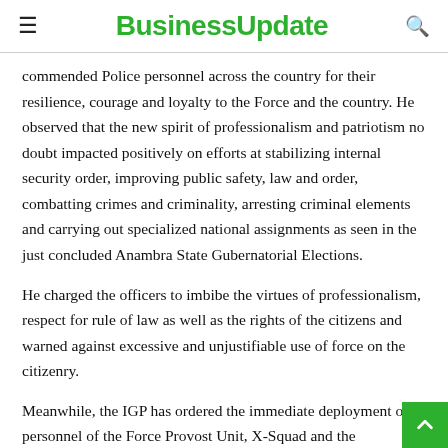BusinessUpdate
commended Police personnel across the country for their resilience, courage and loyalty to the Force and the country. He observed that the new spirit of professionalism and patriotism no doubt impacted positively on efforts at stabilizing internal security order, improving public safety, law and order, combatting crimes and criminality, arresting criminal elements and carrying out specialized national assignments as seen in the just concluded Anambra State Gubernatorial Elections.
He charged the officers to imbibe the virtues of professionalism, respect for rule of law as well as the rights of the citizens and warned against excessive and unjustifiable use of force on the citizenry.
Meanwhile, the IGP has ordered the immediate deployment of personnel of the Force Provost Unit, X-Squad and the